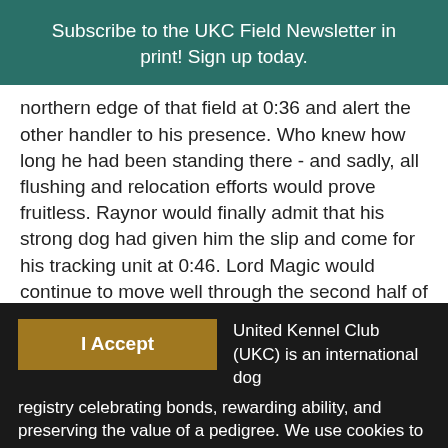Subscribe to the UKC Field Newsletter in print! Sign up today.
northern edge of that field at 0:36 and alert the other handler to his presence. Who knew how long he had been standing there - and sadly, all flushing and relocation efforts would prove fruitless. Raynor would finally admit that his strong dog had given him the slip and come for his tracking unit at 0:46. Lord Magic would continue to move well through the second half of the course, and as the gallery moved under the first tall berm beneath the entrance way, he would be seen
I Accept
United Kennel Club (UKC) is an international dog registry celebrating bonds, rewarding ability, and preserving the value of a pedigree. We use cookies to capture information such as IP addresses and tailor the website to our clients' needs. We also use this information to target and measure promotional material. Please see our Privacy Policy for more information.